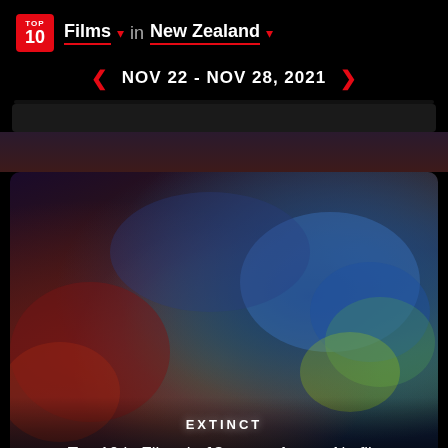TOP 10 | Films ▾ in New Zealand ▾
◀ NOV 22 - NOV 28, 2021 ▶
[Figure (screenshot): Blurred colorful movie poster for EXTINCT showing swirling blue and green abstract art]
EXTINCT
Top 10 in Films in 18 countries on Netflix
IN THE AMERICAS: Argentina · Bolivia · Brazil · Chile · Colombia · Costa Rica · Guatemala · Mexico · Panama · Paraguay · United States · Uruguay